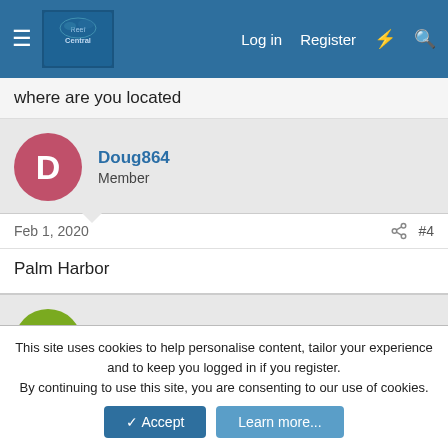Reef Central — Log in  Register
where are you located
Doug864
Member
Feb 1, 2020  #4
Palm Harbor
dlcrawle
New member
Feb 6, 2020  #5
This site uses cookies to help personalise content, tailor your experience and to keep you logged in if you register.
By continuing to use this site, you are consenting to our use of cookies.